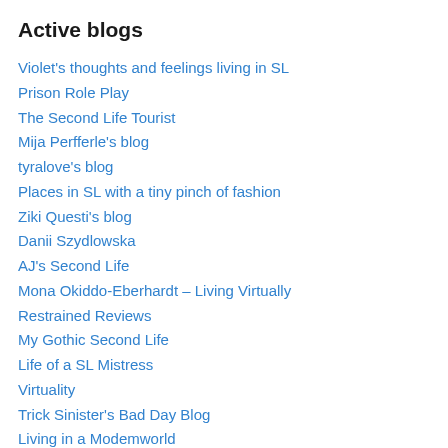Active blogs
Violet's thoughts and feelings living in SL
Prison Role Play
The Second Life Tourist
Mija Perfferle's blog
tyralove's blog
Places in SL with a tiny pinch of fashion
Ziki Questi's blog
Danii Szydlowska
AJ's Second Life
Mona Okiddo-Eberhardt – Living Virtually
Restrained Reviews
My Gothic Second Life
Life of a SL Mistress
Virtuality
Trick Sinister's Bad Day Blog
Living in a Modemworld
Mein Zweites Leben
Exploring Second Life with Annie